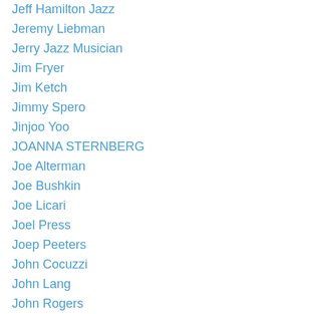Jeff Hamilton Jazz
Jeremy Liebman
Jerry Jazz Musician
Jim Fryer
Jim Ketch
Jimmy Spero
Jinjoo Yoo
JOANNA STERNBERG
Joe Alterman
Joe Bushkin
Joe Licari
Joel Press
Joep Peeters
John Cocuzzi
John Lang
John Rogers
John Royen
JOHNNY HODGES
Jon Burr
Jon-Erik Kellso